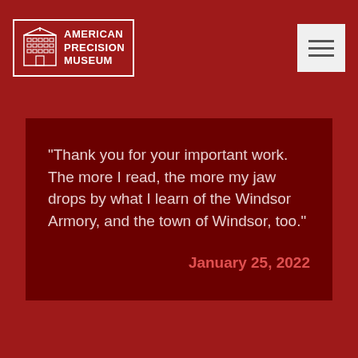American Precision Museum
"Thank you for your important work. The more I read, the more my jaw drops by what I learn of the Windsor Armory, and the town of Windsor, too."
January 25, 2022